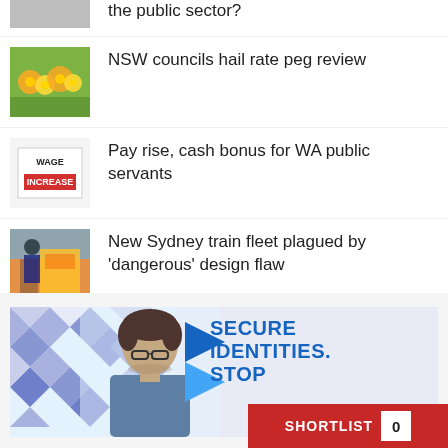the public sector?
NSW councils hail rate peg review
Pay rise, cash bonus for WA public servants
New Sydney train fleet plagued by 'dangerous' design flaw
FOGO is coming - meeting the challenges
[Figure (photo): Advertisement banner: person looking down at desk, with geometric tile pattern background and text 'SECURE IDENTITIES. STOP']
SHORTLIST 0